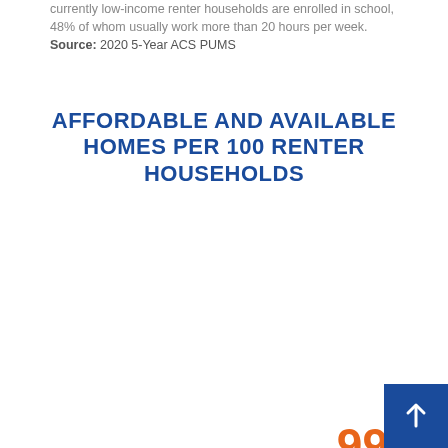currently low-income renter households are enrolled in school, 48% of whom usually work more than 20 hours per week. Source: 2020 5-Year ACS PUMS
AFFORDABLE AND AVAILABLE HOMES PER 100 RENTER HOUSEHOLDS
[Figure (infographic): Large orange numbers showing affordable and available homes per 100 renter households: 99, 91, 51 displayed at different positions on the page]